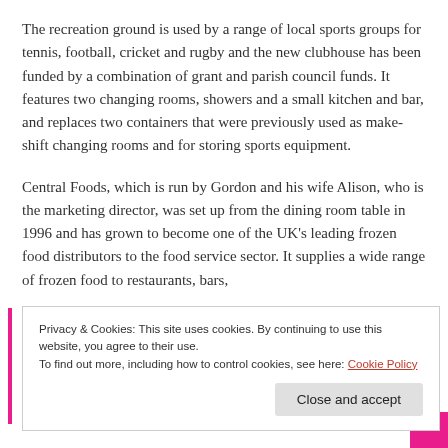The recreation ground is used by a range of local sports groups for tennis, football, cricket and rugby and the new clubhouse has been funded by a combination of grant and parish council funds. It features two changing rooms, showers and a small kitchen and bar, and replaces two containers that were previously used as make-shift changing rooms and for storing sports equipment.
Central Foods, which is run by Gordon and his wife Alison, who is the marketing director, was set up from the dining room table in 1996 and has grown to become one of the UK's leading frozen food distributors to the food service sector. It supplies a wide range of frozen food to restaurants, bars,
Privacy & Cookies: This site uses cookies. By continuing to use this website, you agree to their use.
To find out more, including how to control cookies, see here: Cookie Policy
Close and accept